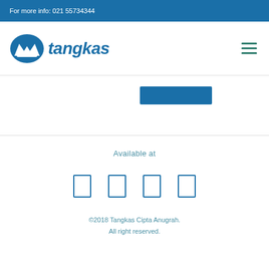For more info: 021 55734344
[Figure (logo): Tangkas insurance company logo with mountain icon and italic blue text 'tangkas']
[Figure (other): Blue rectangular button/banner element in hero section]
Available at
[Figure (other): Four social media icon placeholders rendered as outlined rectangles]
©2018 Tangkas Cipta Anugrah. All right reserved.